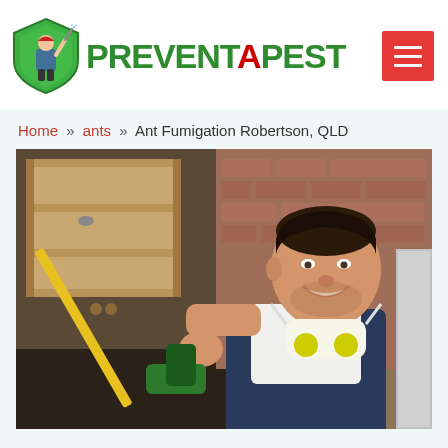[Figure (logo): PreventAPest logo with green shield icon and pest control technician silhouette, green text PREVENT PEST with red A]
[Figure (other): Red hamburger menu button with three white horizontal lines]
Home » ants » Ant Fumigation Robertson, QLD
[Figure (photo): Smiling male pest control technician wearing white shirt and dark overalls with a respirator mask around his neck, holding a yellow-handled spray wand, spraying under wooden kitchen shelves, brick wall in background]